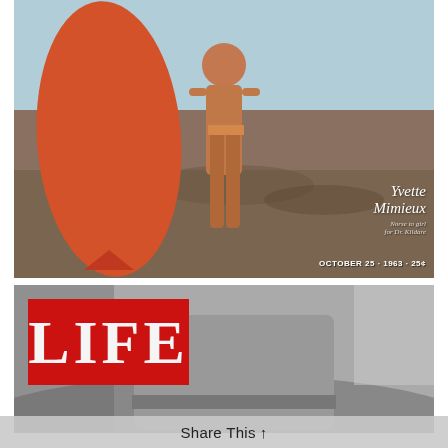[Figure (photo): LIFE magazine cover from October 25, 1963, showing Yvette Mimieux standing on a beach holding a large orange surfboard, wearing a bikini. Cover text reads 'Yvette Mimieux, Norse to girl for Dr. Kildare, OCTOBER 25 · 1963 · 25¢']
[Figure (photo): LIFE magazine cover (black and white), showing the LIFE logo in red on the upper left over a grayscale photo of a person in a hat.]
Share This